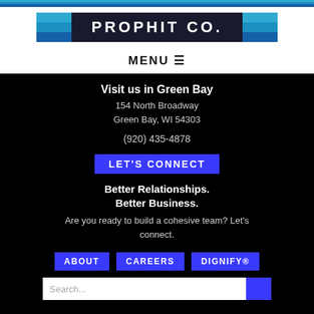[Figure (logo): PROPHIT CO. logo with dark background and colored stripe bars on sides]
MENU ☰
Visit us in Green Bay
154 North Broadway
Green Bay, WI 54303
(920) 435-4878
LET'S CONNECT
Better Relationships.
Better Business.
Are you ready to build a cohesive team? Let's connect.
ABOUT
CAREERS
DIGNIFY®
Search...